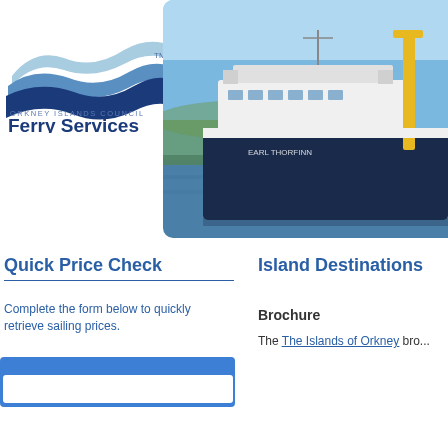[Figure (logo): Orkney Islands Council Ferry Services logo with wave graphic in blue tones and trademark symbol]
[Figure (photo): Ferry vessel (Earl Thorfinn) at dock in Orkney, white and dark hull, yellow cranes visible, blue sky and green land in background]
Quick Price Check
Complete the form below to quickly retrieve sailing prices.
Island Destinations
Brochure
The The Islands of Orkney bro...